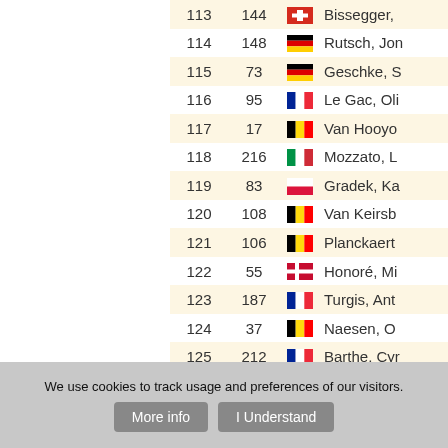| Rank | Bib | Country | Name |
| --- | --- | --- | --- |
| 113 | 144 | SUI | Bissegger, |
| 114 | 148 | GER | Rutsch, Jon |
| 115 | 73 | GER | Geschke, S |
| 116 | 95 | FRA | Le Gac, Oli |
| 117 | 17 | BEL | Van Hooyo |
| 118 | 216 | ITA | Mozzato, L |
| 119 | 83 | POL | Gradek, Ka |
| 120 | 108 | BEL | Van Keirsb |
| 121 | 106 | BEL | Planckaert |
| 122 | 55 | DEN | Honoré, Mi |
| 123 | 187 | FRA | Turgis, Ant |
| 124 | 37 | BEL | Naesen, O |
| 125 | 212 | FRA | Barthe, Cyr |
| 126 | 56 | BEL | Lampaert, |
| 127 | 181 | FRA | R... |
We use cookies to track usage and preferences of our visitors.